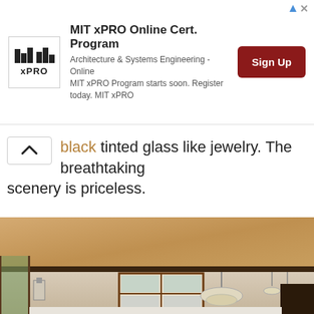[Figure (photo): MIT xPRO advertisement banner with logo, text, and Sign Up button]
black tinted glass like jewelry. The breathtaking scenery is priceless.
[Figure (photo): Interior architectural photo showing warm wood ceiling, windows with wooden frames, chandelier pendant light, wall sconce, and open floor plan living space]